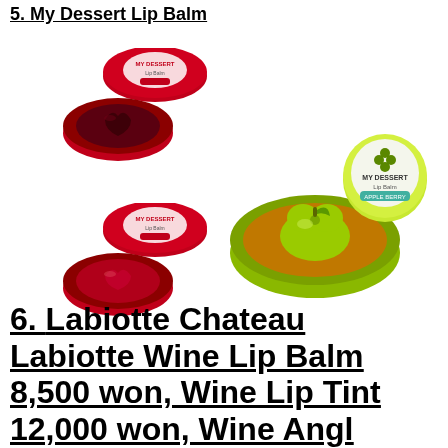5. My Dessert Lip Balm
[Figure (photo): Three My Dessert Lip Balm products: two small red tins on the left (top and bottom), and a larger green tin on the right showing a green apple-shaped balm inside an open tin with the lid displaying 'MY DESSERT Lip Balm' branding]
6. Labiotte Chateau Labiotte Wine Lip Balm 8,500 won, Wine Lip Tint 12,000 won, Wine Ango